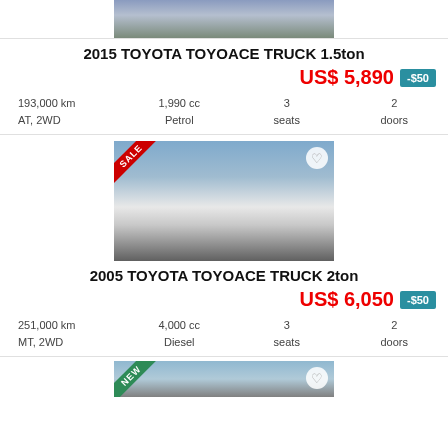[Figure (photo): Partial top photo of a vehicle, cropped at top]
2015 TOYOTA TOYOACE TRUCK 1.5ton
US$ 5,890  -$50
193,000 km
AT, 2WD
1,990 cc
Petrol
3 seats
2 doors
[Figure (photo): 2005 Toyota Toyoace Truck 2ton vehicle photo with SALE badge]
2005 TOYOTA TOYOACE TRUCK 2ton
US$ 6,050  -$50
251,000 km
MT, 2WD
4,000 cc
Diesel
3 seats
2 doors
[Figure (photo): Partial bottom photo of another vehicle with NEW badge, cropped]